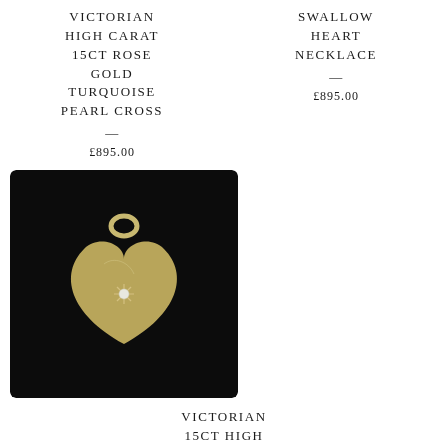VICTORIAN HIGH CARAT 15CT ROSE GOLD TURQUOISE PEARL CROSS
—
£895.00
SWALLOW HEART NECKLACE
—
£895.00
[Figure (photo): A gold heart-shaped pendant with a star-set pearl in the center, shown against a dark background. The pendant has a round bail at the top.]
VICTORIAN 15CT HIGH